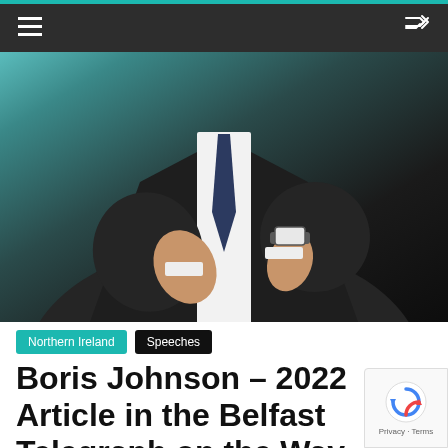Navigation bar with hamburger menu and shuffle icon
[Figure (photo): A man in a dark suit with white shirt and dark navy tie, viewed from the torso down, checking or adjusting his watch. The background appears to be an office or formal setting with teal/blue tones.]
Northern Ireland   Speeches
Boris Johnson – 2022 Article in the Belfast Telegraph on the Way